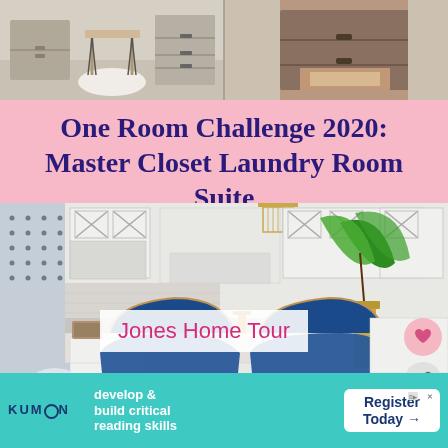[Figure (photo): Top collage of two interior/closet room photos side by side]
One Room Challenge 2020: Master Closet Laundry Room Suite
[Figure (photo): Interior kitchen/laundry room with white cabinets, monstera plant, gold pendant, blue bistro chairs, and 'Jones Home Tour' text overlay]
Jones Home Tour
[Figure (infographic): WHAT'S NEXT panel with thumbnail and 'Meet the ...' text]
[Figure (infographic): Kumon advertisement banner: 'develop & build critical reading skills' with Register Today button]